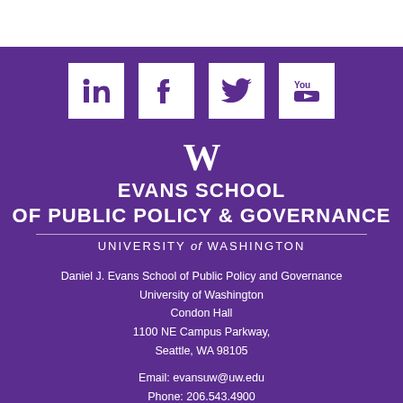[Figure (logo): Social media icons: LinkedIn, Facebook, Twitter, YouTube — white squares on purple background]
W
EVANS SCHOOL
OF PUBLIC POLICY & GOVERNANCE
UNIVERSITY of WASHINGTON
Daniel J. Evans School of Public Policy and Governance
University of Washington
Condon Hall
1100 NE Campus Parkway,
Seattle, WA 98105
Email: evansuw@uw.edu
Phone: 206.543.4900